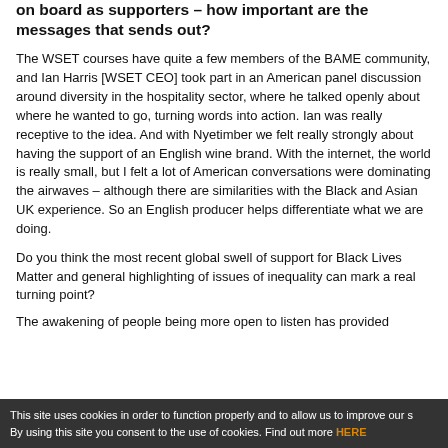on board as supporters – how important are the messages that sends out?
The WSET courses have quite a few members of the BAME community, and Ian Harris [WSET CEO] took part in an American panel discussion around diversity in the hospitality sector, where he talked openly about where he wanted to go, turning words into action. Ian was really receptive to the idea. And with Nyetimber we felt really strongly about having the support of an English wine brand. With the internet, the world is really small, but I felt a lot of American conversations were dominating the airwaves – although there are similarities with the Black and Asian UK experience. So an English producer helps differentiate what we are doing.
Do you think the most recent global swell of support for Black Lives Matter and general highlighting of issues of inequality can mark a real turning point?
The awakening of people being more open to listen has provided
This site uses cookies in order to function properly and to allow us to improve our s By using this site you consent to the use of cookies. Find out more HERE